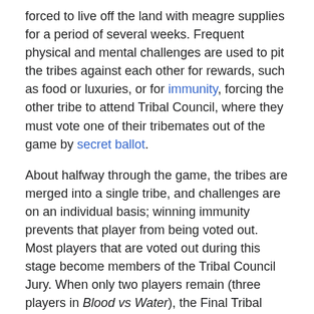forced to live off the land with meagre supplies for a period of several weeks. Frequent physical and mental challenges are used to pit the tribes against each other for rewards, such as food or luxuries, or for immunity, forcing the other tribe to attend Tribal Council, where they must vote one of their tribemates out of the game by secret ballot.
About halfway through the game, the tribes are merged into a single tribe, and challenges are on an individual basis; winning immunity prevents that player from being voted out. Most players that are voted out during this stage become members of the Tribal Council Jury. When only two players remain (three players in Blood vs Water), the Final Tribal Council is held. The finalists pleads their case to the Jury as to why they should win the game. The jurors then have the opportunity to interrogate the finalists before casting their vote for which finalist should be awarded the title of Sole Survivor and win the grand prize of A$500,000 (or a A$100,000 charity prize in the celebrity season).